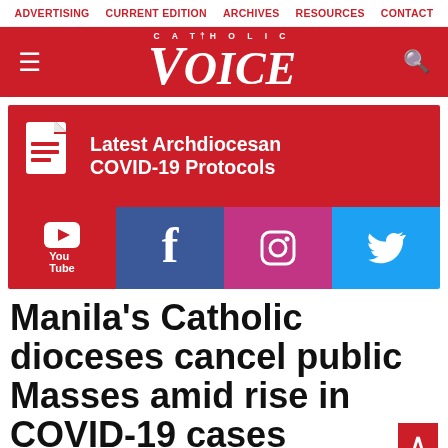ADVERTISING   CURRENT EDITION   ARCHIVES   RESOURCES   CONTACT
[Figure (logo): Catholic Voice logo in white on red background with hamburger menu and search icon]
[Figure (infographic): Red promo box with document icon and text 'Latest Archdiocesan COVID-19 Protocols', below it social media row with YouTube (red), Facebook (blue), Instagram (pink), Twitter (light blue)]
Manila's Catholic dioceses cancel public Masses amid rise in COVID-19 cases